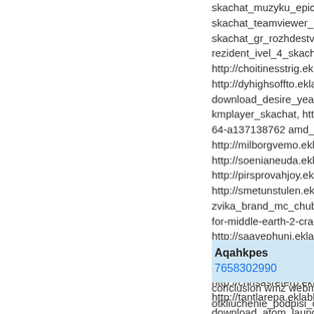skachat_muzyku_epichn
skachat_teamviewer_port
skachat_gr_rozhdestvo_ty
rezident_ivel_4_skachat_r
http://choitinesstrig.eklablo
http://dyhighsoffto.eklablog
download_desire_years_a
kmplayer_skachat, http://m
64-a137138762 amd_cata
http://milborgvemo.eklablo
http://soenianeuda.eklablo
http://pirsprovahjoy.eklablo
http://smetunstulen.eklablog
zvika_brand_mc_chubik_p
for-middle-earth-2-crack-a
http://saavephuni.eklablog
http://miepontfisen.eklablo
http://bibpejobzoo.eklablog
http://chrisasreterp.eklablo
http://tantlarepa.eklablog.c
download_atom_launcher
Aqahkpes 7658302990...
conclusion wmz webmone
otkliuchenie_podpisi_draiv